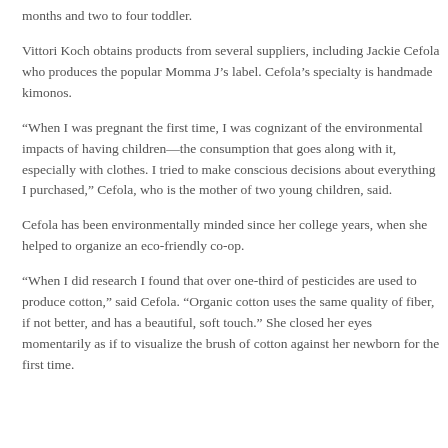months and two to four toddler.
Vittori Koch obtains products from several suppliers, including Jackie Cefola who produces the popular Momma J’s label. Cefola’s specialty is handmade kimonos.
“When I was pregnant the first time, I was cognizant of the environmental impacts of having children—the consumption that goes along with it, especially with clothes. I tried to make conscious decisions about everything I purchased,” Cefola, who is the mother of two young children, said.
Cefola has been environmentally minded since her college years, when she helped to organize an eco-friendly co-op.
“When I did research I found that over one-third of pesticides are used to produce cotton,” said Cefola. “Organic cotton uses the same quality of fiber, if not better, and has a beautiful, soft touch.” She closed her eyes momentarily as if to visualize the brush of cotton against her newborn for the first time.